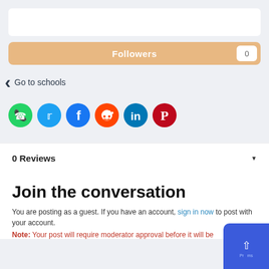[Figure (screenshot): White box placeholder at top]
Followers  0
< Go to schools
[Figure (infographic): Social media share icons: WhatsApp (green), Twitter (blue), Facebook (dark blue), Reddit (orange), LinkedIn (teal), Pinterest (red)]
0 Reviews
Join the conversation
You are posting as a guest. If you have an account, sign in now to post with your account.
Note: Your post will require moderator approval before it will be